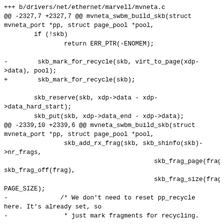+++ b/drivers/net/ethernet/marvell/mvneta.c
@@ -2327,7 +2327,7 @@ mvneta_swbm_build_skb(struct mvneta_port *pp, struct page_pool *pool,
        if (!skb)
                return ERR_PTR(-ENOMEM);

-        skb_mark_for_recycle(skb, virt_to_page(xdp->data), pool);
+        skb_mark_for_recycle(skb);

        skb_reserve(skb, xdp->data - xdp->data_hard_start);
        skb_put(skb, xdp->data_end - xdp->data);
@@ -2339,10 +2339,6 @@ mvneta_swbm_build_skb(struct mvneta_port *pp, struct page_pool *pool,
                skb_add_rx_frag(skb, skb_shinfo(skb)->nr_frags,
                                                skb_frag_page(frag),
skb_frag_off(frag),
                                                skb_frag_size(frag),
PAGE_SIZE);
-              /* We don't need to reset pp_recycle here. It's already set, so
-               * just mark fragments for recycling.
-               */
-
page_pool_store_mem_info(skb_frag_page(frag), pool);
        }

        return skb;